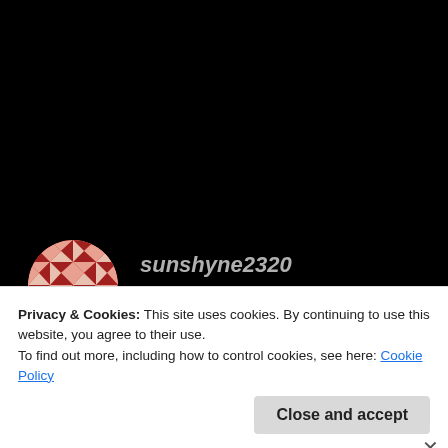[Figure (illustration): Circular avatar with geometric quilt/star pattern in red/white/pink colors]
sunshyne2320
DECEMBER 6, 2017 AT 6:46 AM
Never read a fantasy book. This coiuld be my first. It's sounds cool
Privacy & Cookies: This site uses cookies. By continuing to use this website, you agree to their use.
To find out more, including how to control cookies, see here: Cookie Policy
Close and accept